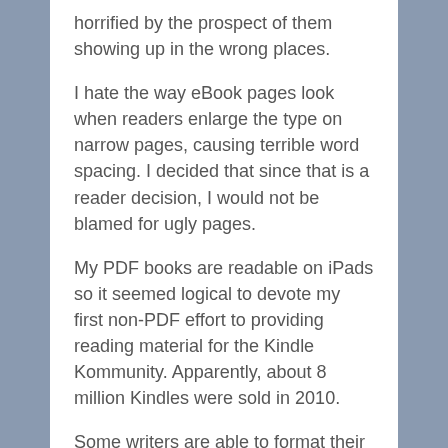horrified by the prospect of them showing up in the wrong places.
I hate the way eBook pages look when readers enlarge the type on narrow pages, causing terrible word spacing. I decided that since that is a reader decision, I would not be blamed for ugly pages.
My PDF books are readable on iPads so it seemed logical to devote my first non-PDF effort to providing reading material for the Kindle Kommunity. Apparently, about 8 million Kindles were sold in 2010.
Some writers are able to format their own Kindle versions. I bought and read several books about Kindle conversion. I then tried converting, using Smashwords, Amazon's own Digital Text Platform (DTP) and other services.